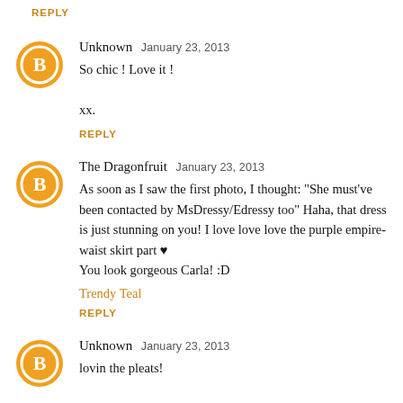REPLY
Unknown  January 23, 2013
So chic ! Love it !

xx.
REPLY
The Dragonfruit  January 23, 2013
As soon as I saw the first photo, I thought: "She must've been contacted by MsDressy/Edressy too" Haha, that dress is just stunning on you! I love love love the purple empire-waist skirt part ♥
You look gorgeous Carla! :D
Trendy Teal
REPLY
Unknown  January 23, 2013
lovin the pleats!